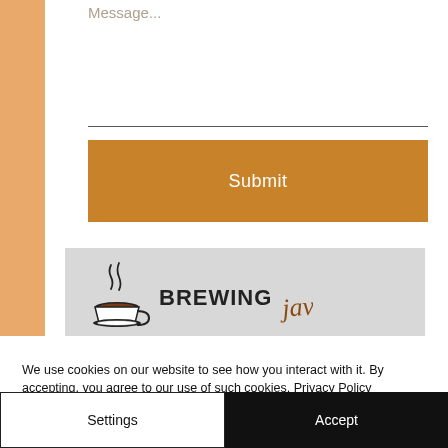Message...
[Figure (logo): Brewing Java logo with coffee cup icon and stylized text]
We use cookies on our website to see how you interact with it. By accepting, you agree to our use of such cookies. Privacy Policy
Settings
Accept